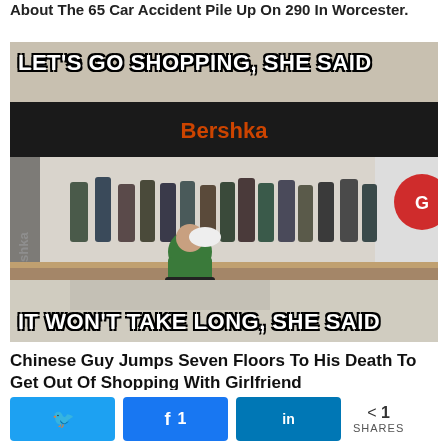About The 65 Car Accident Pile Up On 290 In Worcester.
[Figure (photo): Meme image of a shopping mall with a Bershka store. Top text: LET'S GO SHOPPING, SHE SAID. Bottom text: IT WON'T TAKE LONG, SHE SAID. A man is seen leaning over a railing in the foreground with a crowd of shoppers in the background.]
Chinese Guy Jumps Seven Floors To His Death To Get Out Of Shopping With Girlfriend
[Figure (photo): Partial thumbnail image of a news article]
< 1 SHARES  [Twitter] [Facebook 1] [LinkedIn]